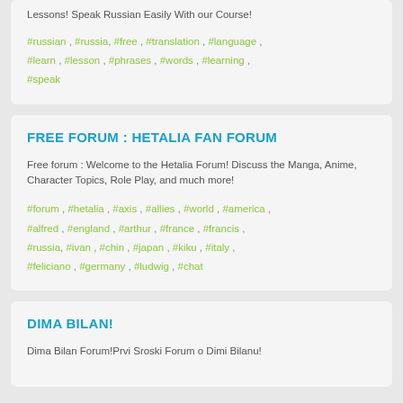Lessons! Speak Russian Easily With our Course!
#russian , #russia, #free , #translation , #language , #learn , #lesson , #phrases , #words , #learning , #speak
FREE FORUM : HETALIA FAN FORUM
Free forum : Welcome to the Hetalia Forum! Discuss the Manga, Anime, Character Topics, Role Play, and much more!
#forum , #hetalia , #axis , #allies , #world , #america , #alfred , #england , #arthur , #france , #francis , #russia, #ivan , #chin , #japan , #kiku , #italy , #feliciano , #germany , #ludwig , #chat
DIMA BILAN!
Dima Bilan Forum!Prvi Sroski Forum o Dimi Bilanu!